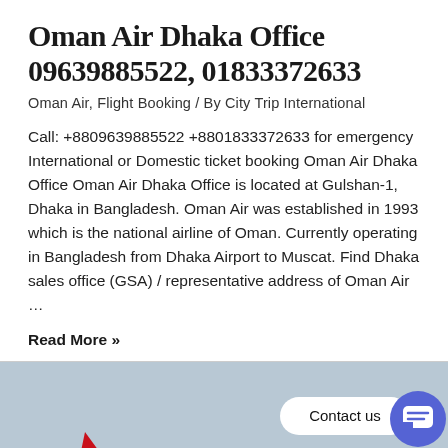Oman Air Dhaka Office 09639885522, 01833372633
Oman Air, Flight Booking / By City Trip International
Call: +8809639885522 +8801833372633 for emergency International or Domestic ticket booking Oman Air Dhaka Office Oman Air Dhaka Office is located at Gulshan-1, Dhaka in Bangladesh. Oman Air was established in 1993 which is the national airline of Oman. Currently operating in Bangladesh from Dhaka Airport to Muscat. Find Dhaka sales office (GSA) / representative address of Oman Air ...
Read More »
[Figure (photo): Photo of Air India airplane on a grey-blue sky background, with a 'Contact us' chat bubble and a blue circular chat icon in the bottom right area of the image.]